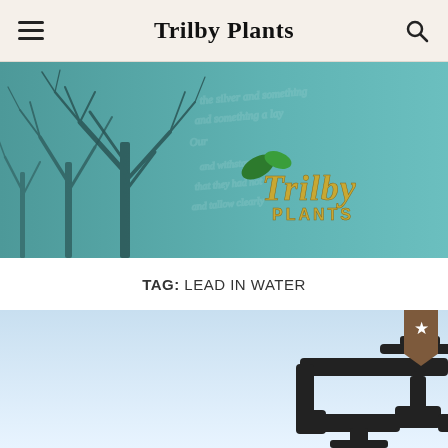Trilby Plants
[Figure (illustration): Trilby Plants website banner with teal background, bare winter trees silhouette on left, cursive handwriting texture on right, and gold Trilby Plants logo with green leaves in the center-right]
TAG: LEAD IN WATER
[Figure (illustration): Article thumbnail showing a water pipe/valve silhouette in dark color against a light blue gradient background, with a brown bookmark ribbon tab in the top-right corner]